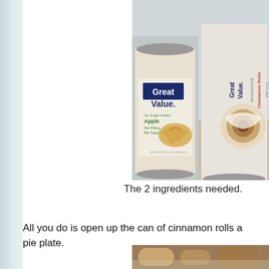[Figure (photo): Two Great Value brand products: a can of No Sugar Added Apple Pie Filling/Topping and a can of Cinnamon Rolls, placed on a counter.]
The 2 ingredients needed.
All you do is open up the can of cinnamon rolls and pie plate.
[Figure (photo): Bottom portion of a photo showing baked cinnamon rolls in a pie plate.]